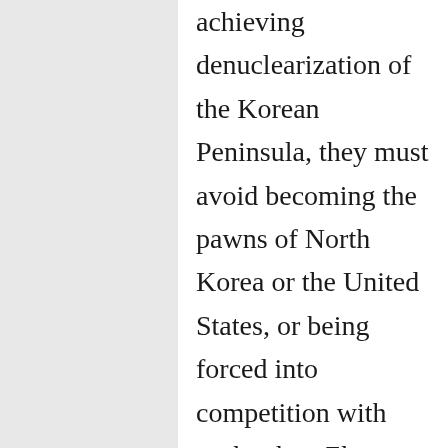achieving denuclearization of the Korean Peninsula, they must avoid becoming the pawns of North Korea or the United States, or being forced into competition with each other. Zhang and Liang blame the United States for triggering Chinese feelings of insecurity by using the North Korean nuclear crisis as an excuse for the US